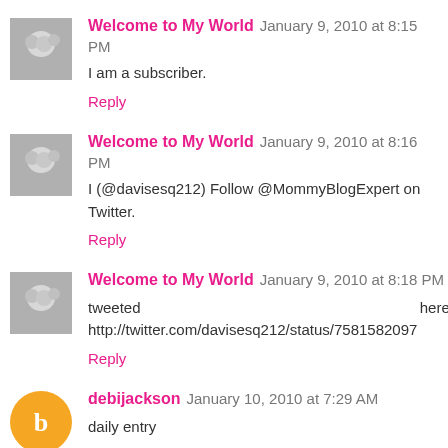Welcome to My World  January 9, 2010 at 8:15 PM
I am a subscriber.
Reply
Welcome to My World  January 9, 2010 at 8:16 PM
I (@davisesq212) Follow @MommyBlogExpert on Twitter.
Reply
Welcome to My World  January 9, 2010 at 8:18 PM
tweeted here: http://twitter.com/davisesq212/status/7581582097
Reply
debijackson  January 10, 2010 at 7:29 AM
daily entry